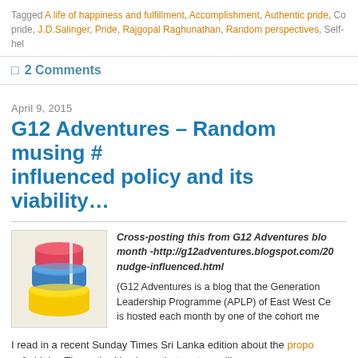Tagged A life of happiness and fulfillment, Accomplishment, Authentic pride, Co pride, J.D.Salinger, Pride, Rajgopal Raghunathan, Random perspectives, Self-help
2 Comments
April 9, 2015
G12 Adventures – Random musing # influenced policy and its viability…
[Figure (photo): Stack of colorful plastic cups/bowls with liquid — red, blue, yellow colors]
Cross-posting this from G12 Adventures blo month -http://g12adventures.blogspot.com/20 nudge-influenced.html

(G12 Adventures is a blog that the Generation Leadership Programme (APLP) of East West Ce is hosted each month by one of the cohort me
I read in a recent Sunday Times Sri Lanka edition about the propo soft drinks. The authorities hope that system will encourage peop